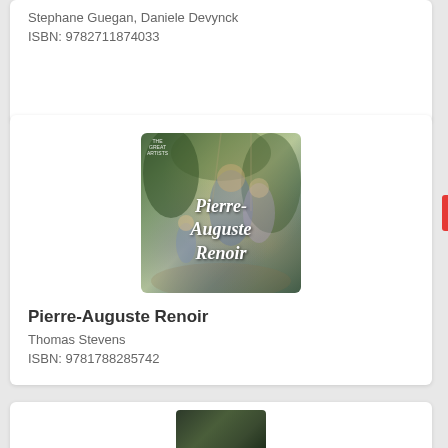Stephane Guegan, Daniele Devynck
ISBN: 9782711874033
[Figure (illustration): Book cover of Pierre-Auguste Renoir showing an Impressionist painting of people in a garden/park scene with the book title in white italic script]
Pierre-Auguste Renoir
Thomas Stevens
ISBN: 9781788285742
[Figure (illustration): Partial book cover visible at bottom, dark toned Impressionist painting]